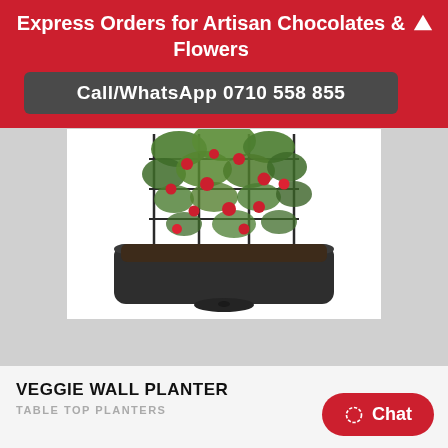Express Orders for Artisan Chocolates & Flowers
Call/WhatsApp 0710 558 855
[Figure (photo): A dark gray rectangular planter/window box filled with soil, with tomato plants growing on a metal trellis/cage, showing red cherry tomatoes and green foliage against a white background.]
VEGGIE WALL PLANTER
TABLE TOP PLANTERS
Chat